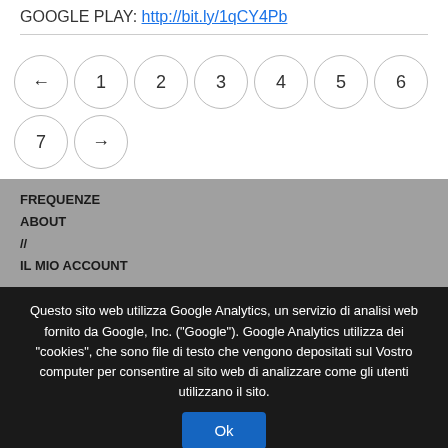GOOGLE PLAY: http://bit.ly/1qCY4Pb
[Figure (other): Pagination navigation with circles: ← 1 2 3 4 5 6 7 and → on the next row]
FREQUENZE
ABOUT
//
IL MIO ACCOUNT
Questo sito web utilizza Google Analytics, un servizio di analisi web fornito da Google, Inc. ("Google"). Google Analytics utilizza dei "cookies", che sono file di testo che vengono depositati sul Vostro computer per consentire al sito web di analizzare come gli utenti utilizzano il sito.